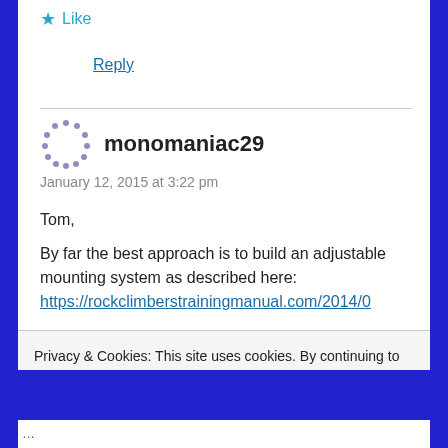★ Like
Reply
monomaniac29
January 12, 2015 at 3:22 pm
Tom,

By far the best approach is to build an adjustable mounting system as described here:
https://rockclimberstrainingmanual.com/2014/0
Privacy & Cookies: This site uses cookies. By continuing to use this website, you agree to their use.
To find out more, including how to control cookies, see here: Cookie Policy

Close and accept